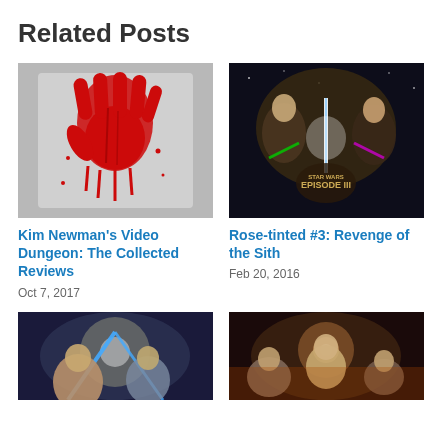Related Posts
[Figure (photo): Bloody red handprint on a white/grey background]
Kim Newman’s Video Dungeon: The Collected Reviews
Oct 7, 2017
[Figure (photo): Star Wars Episode III Revenge of the Sith movie poster]
Rose-tinted #3: Revenge of the Sith
Feb 20, 2016
[Figure (photo): Star Wars Episode II Attack of the Clones movie poster]
[Figure (photo): Star Wars Episode I The Phantom Menace movie poster]